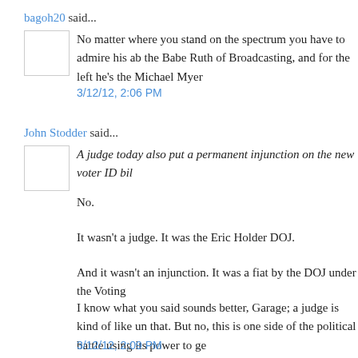bagoh20 said...
No matter where you stand on the spectrum you have to admire his ab the Babe Ruth of Broadcasting, and for the left he's the Michael Myer
3/12/12, 2:06 PM
John Stodder said...
A judge today also put a permanent injunction on the new voter ID bil
No.
It wasn't a judge. It was the Eric Holder DOJ.
And it wasn't an injunction. It was a fiat by the DOJ under the Voting
I know what you said sounds better, Garage; a judge is kind of like un that. But no, this is one side of the political battle using its power to ge
3/12/12, 2:09 PM